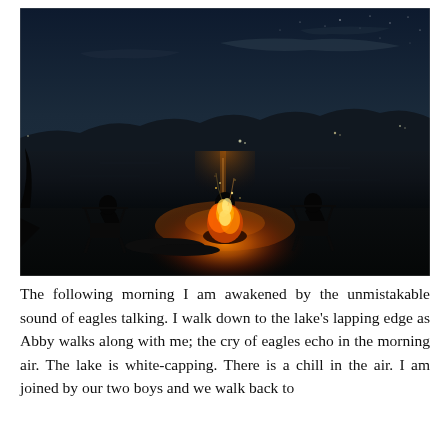[Figure (photo): Nighttime outdoor scene of three people sitting in chairs around a campfire beside a lake. The fire glows orange with sparks flying upward. Dark hills and lights are visible across the still water. The sky is dark with some stars and wispy clouds.]
The following morning I am awakened by the unmistakable sound of eagles talking. I walk down to the lake's lapping edge as Abby walks along with me; the cry of eagles echo in the morning air. The lake is white-capping. There is a chill in the air. I am joined by our two boys and we walk back to